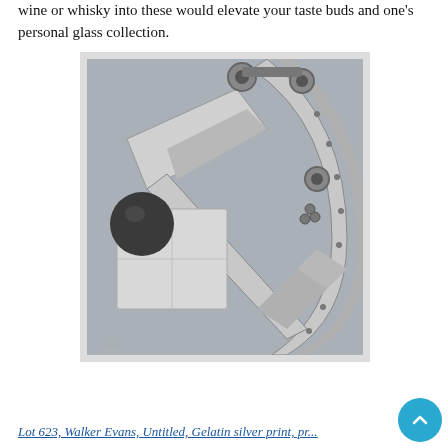wine or whisky into these would elevate your taste buds and one's personal glass collection.
[Figure (photo): Black and white photograph of industrial machinery, likely a close-up of bridge or structural steel components with rivets, pulleys, and metal plates, by Walker Evans.]
Lot 623, Walker Evans, Untitled, Gelatin silver print, pr...